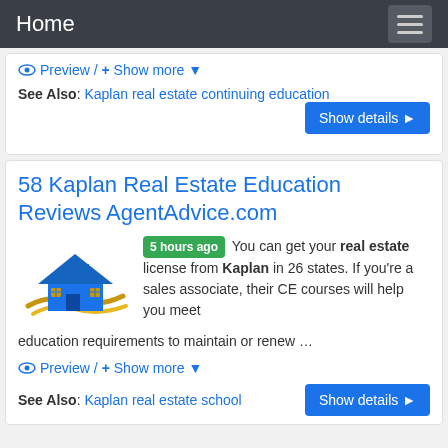Home
Preview / + Show more ▼
See Also: Kaplan real estate continuing education
Show details ▶
58 Kaplan Real Estate Education Reviews AgentAdvice.com
[Figure (logo): House logo with blue roof and golden waves]
5 hours ago You can get your real estate license from Kaplan in 26 states. If you're a sales associate, their CE courses will help you meet education requirements to maintain or renew …
Preview / + Show more ▼
See Also: Kaplan real estate school
Show details ▶